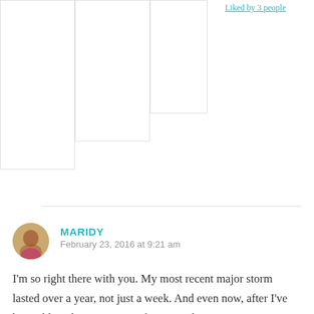[Figure (screenshot): Partial screenshot of upper portion of a web page comment section, showing placeholder image boxes and a partial link text in teal.]
MARIDY
February 23, 2016 at 9:21 am
I'm so right there with you. My most recent major storm lasted over a year, not just a week. And even now, after I've been able to have Joy again for 6 months, every once in a while, the same waves kick up and I just have to ride it out, trusting that God is the Captain and he's not going to let me sink. And in the morning, whenever that morning comes -and it always does- there will be joy. Thanks for